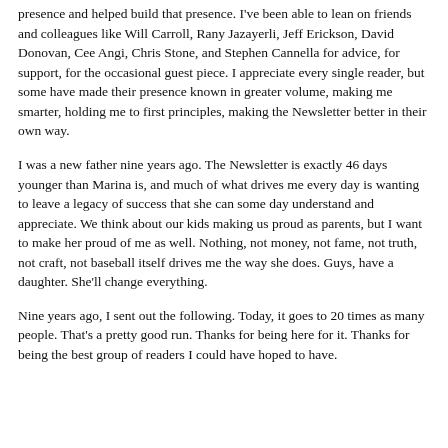presence and helped build that presence. I've been able to lean on friends and colleagues like Will Carroll, Rany Jazayerli, Jeff Erickson, David Donovan, Cee Angi, Chris Stone, and Stephen Cannella for advice, for support, for the occasional guest piece. I appreciate every single reader, but some have made their presence known in greater volume, making me smarter, holding me to first principles, making the Newsletter better in their own way.
I was a new father nine years ago. The Newsletter is exactly 46 days younger than Marina is, and much of what drives me every day is wanting to leave a legacy of success that she can some day understand and appreciate. We think about our kids making us proud as parents, but I want to make her proud of me as well. Nothing, not money, not fame, not truth, not craft, not baseball itself drives me the way she does. Guys, have a daughter. She'll change everything.
Nine years ago, I sent out the following. Today, it goes to 20 times as many people. That's a pretty good run. Thanks for being here for it. Thanks for being the best group of readers I could have hoped to have.